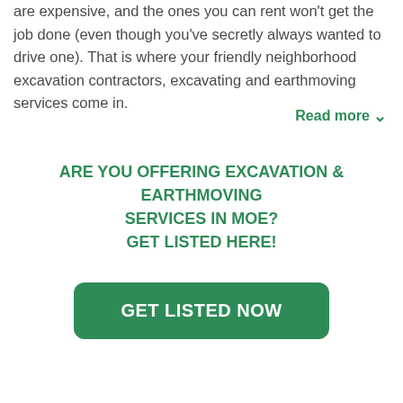are expensive, and the ones you can rent won't get the job done (even though you've secretly always wanted to drive one). That is where your friendly neighborhood excavation contractors, excavating and earthmoving services come in.
Read more ∨
ARE YOU OFFERING EXCAVATION & EARTHMOVING SERVICES IN MOE? GET LISTED HERE!
GET LISTED NOW